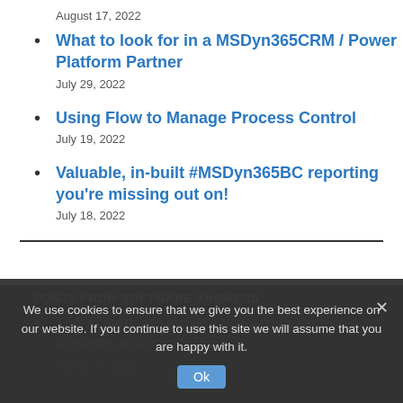August 17, 2022
What to look for in a MSDyn365CRM / Power Platform Partner
July 29, 2022
Using Flow to Manage Process Control
July 19, 2022
Valuable, in-built #MSDyn365BC reporting you're missing out on!
July 18, 2022
POSTS FROM SOFTWARE ANSWERS
The experts are moving away from Software Answers to a new home
March 15, 2019
We use cookies to ensure that we give you the best experience on our website. If you continue to use this site we will assume that you are happy with it.
Ok